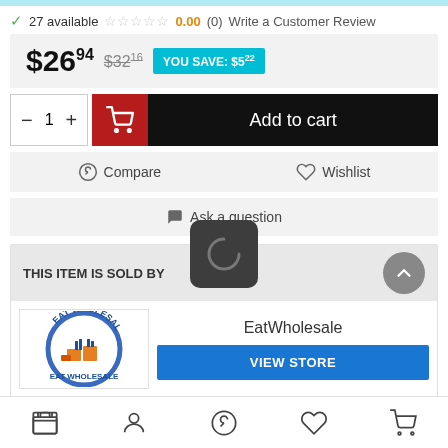27 available  ☆☆☆☆☆  0.00 (0)  Write a Customer Review
$26.94  $32.16  YOU SAVE: $5.22
- 1 +  Add to cart
Compare  Wishlist
Ask a question
THIS ITEM IS SOLD BY
[Figure (logo): EatWholesale circular logo with blue text and orange boxes illustration]
EatWholesale
VIEW STORE